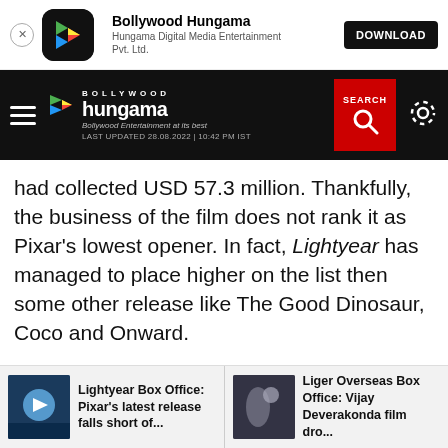Bollywood Hungama — Hungama Digital Media Entertainment Pvt. Ltd. — DOWNLOAD
[Figure (screenshot): Bollywood Hungama app navigation bar with logo, search, and settings icons. Last updated 28.08.2022 | 10:42 PM IST]
had collected USD 57.3 million. Thankfully, the business of the film does not rank it as Pixar's lowest opener. In fact, Lightyear has managed to place higher on the list then some other release like The Good Dinosaur, Coco and Onward.
Lightyear Box Office: Pixar's latest release falls short of...
Liger Overseas Box Office: Vijay Deverakonda film dro...